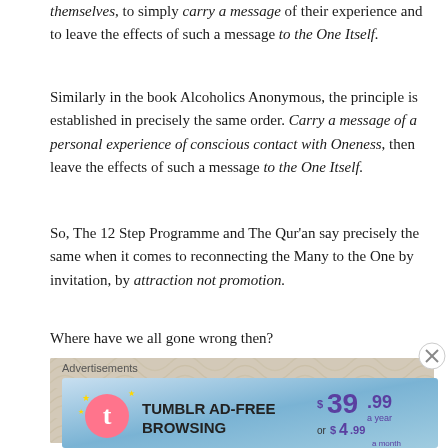themselves, to simply carry a message of their experience and to leave the effects of such a message to the One Itself.
Similarly in the book Alcoholics Anonymous, the principle is established in precisely the same order. Carry a message of a personal experience of conscious contact with Oneness, then leave the effects of such a message to the One Itself.
So, The 12 Step Programme and The Qur'an say precisely the same when it comes to reconnecting the Many to the One by invitation, by attraction not promotion.
Where have we all gone wrong then?
[Figure (other): Calendar image showing TUESDAY JAN with a decorative wave pattern background in beige/tan tones]
Advertisements
[Figure (other): Tumblr ad-free browsing advertisement banner: $39.99 a year or $4.99 a month]